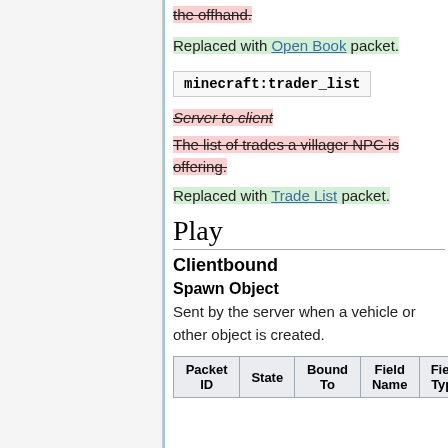the offhand. [strikethrough]
Replaced with Open Book packet.
minecraft:trader_list
Server to client [strikethrough]
The list of trades a villager NPC is offering. [strikethrough]
Replaced with Trade List packet.
Play
Clientbound
Spawn Object
Sent by the server when a vehicle or other object is created.
| Packet ID | State | Bound To | Field Name | Field Type |
| --- | --- | --- | --- | --- |